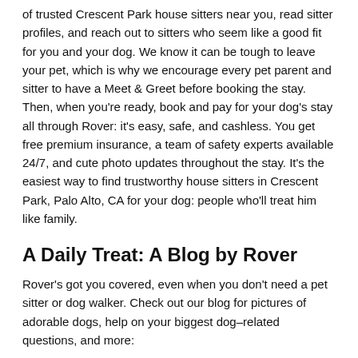of trusted Crescent Park house sitters near you, read sitter profiles, and reach out to sitters who seem like a good fit for you and your dog. We know it can be tough to leave your pet, which is why we encourage every pet parent and sitter to have a Meet & Greet before booking the stay. Then, when you're ready, book and pay for your dog's stay all through Rover: it's easy, safe, and cashless. You get free premium insurance, a team of safety experts available 24/7, and cute photo updates throughout the stay. It's the easiest way to find trustworthy house sitters in Crescent Park, Palo Alto, CA for your dog: people who'll treat him like family.
A Daily Treat: A Blog by Rover
Rover’s got you covered, even when you don’t need a pet sitter or dog walker. Check out our blog for pictures of adorable dogs, help on your biggest dog–related questions, and more:
Top 100 Dog Names and Unique Dog Names, depending on your preference
A Step–by–Step Guide to Becoming a Service Dog
Breed Comparison: Labrador Retriever vs. Golden Retriever